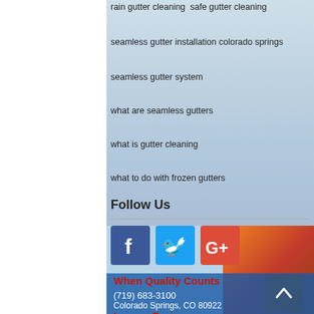rain gutter cleaning  safe gutter cleaning
seamless gutter installation colorado springs
seamless gutter system
what are seamless gutters
what is gutter cleaning
what to do with frozen gutters
Follow Us
[Figure (logo): Facebook logo icon - blue square with white 'f']
[Figure (logo): Twitter logo icon - blue square with white bird]
[Figure (logo): Google+ logo icon - red/orange square with white G+]
When Quality Counts
(719) 683-3100
Colorado Springs, CO 80922
Leave a Review